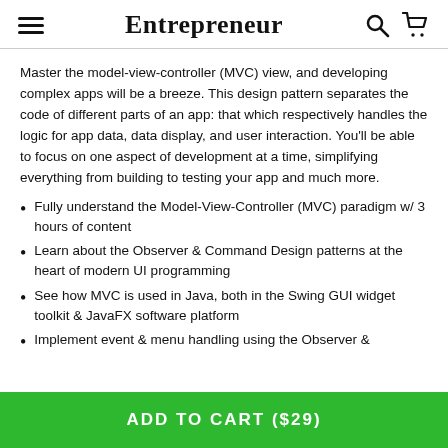Entrepreneur
Master the model-view-controller (MVC) view, and developing complex apps will be a breeze. This design pattern separates the code of different parts of an app: that which respectively handles the logic for app data, data display, and user interaction. You'll be able to focus on one aspect of development at a time, simplifying everything from building to testing your app and much more.
Fully understand the Model-View-Controller (MVC) paradigm w/ 3 hours of content
Learn about the Observer & Command Design patterns at the heart of modern UI programming
See how MVC is used in Java, both in the Swing GUI widget toolkit & JavaFX software platform
Implement event & menu handling using the Observer &
ADD TO CART ($29)